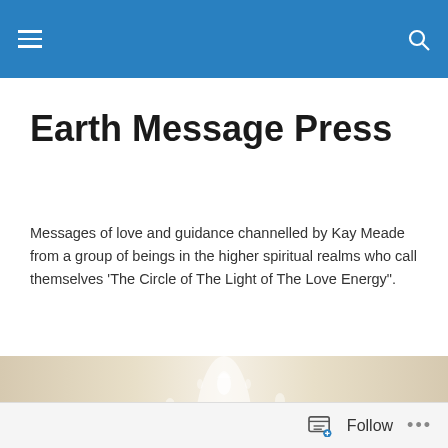[Navigation bar with hamburger menu and search icon]
Earth Message Press
Messages of love and guidance channelled by Kay Meade from a group of beings in the higher spiritual realms who call themselves 'The Circle of The Light of The Love Energy".
[Figure (photo): Decorative image of translucent water droplets on a beige/cream background with a glowing center]
TAGGED WITH SAMPLE
Our meditation CD